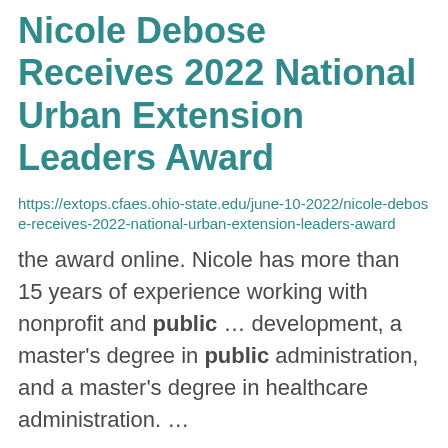Nicole Debose Receives 2022 National Urban Extension Leaders Award
https://extops.cfaes.ohio-state.edu/june-10-2022/nicole-debose-receives-2022-national-urban-extension-leaders-award
the award online. Nicole has more than 15 years of experience working with nonprofit and public ... development, a master's degree in public administration, and a master's degree in healthcare administration. ...
Invasive Species Management: Common and Japanese Barberry